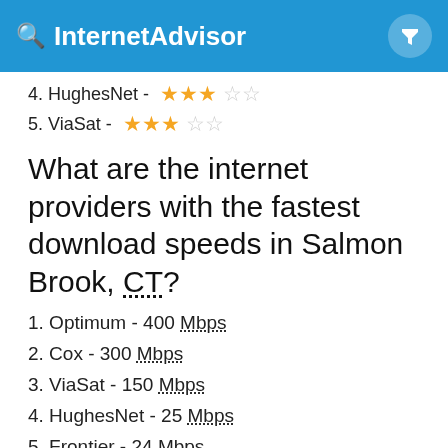InternetAdvisor
4. HughesNet - ★★★☆☆
5. ViaSat - ★★★☆☆
What are the internet providers with the fastest download speeds in Salmon Brook, CT?
1. Optimum - 400 Mbps
2. Cox - 300 Mbps
3. ViaSat - 150 Mbps
4. HughesNet - 25 Mbps
5. Frontier - 24 Mbps